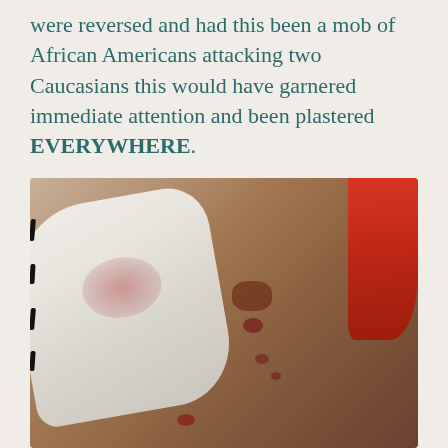were reversed and had this been a mob of African Americans attacking two Caucasians this would have garnered immediate attention and been plastered EVERYWHERE.
[Figure (photo): Medical photo showing a person with a large white gauze bandage on their head/neck area with a blood stain visible on the bandage, stitches visible on the skin, red/pink hair visible on the right side, and blood marks on the exposed skin.]